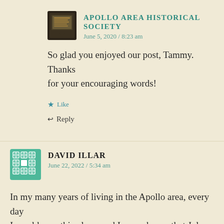[Figure (illustration): Avatar image of Apollo Area Historical Society - a dark historical plaque marker]
APOLLO AREA HISTORICAL SOCIETY
June 5, 2020 / 8:23 am
So glad you enjoyed our post, Tammy. Thanks for your encouraging words!
Like
Reply
[Figure (illustration): Avatar image of David Illar - a teal diamond/geometric pattern avatar]
DAVID ILLAR
June 22, 2022 / 5:34 am
In my many years of living in the Apollo area, every day I would pass this place, and I never knew, that July